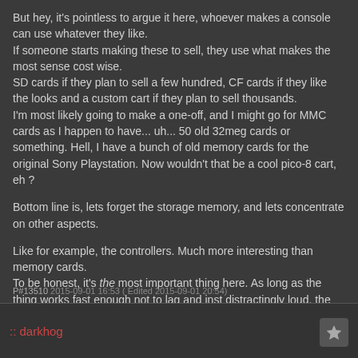But hey, it's pointless to argue it here, whoever makes a console can use whatever they like.
If someone starts making these to sell, they use what makes the most sense cost wise.
SD cards if they plan to sell a few hundred, CF cards if they like the looks and a custom cart if they plan to sell thousands.
I'm most likely going to make a one-off, and I might go for MMC cards as I happen to have... uh... 50 old 32meg cards or something. Hell, I have a bunch of old memory cards for the original Sony Playstation. Now wouldn't that be a cool pico-8 cart, eh ?
Bottom line is, lets forget the storage memory, and lets concentrate on other aspects.
Like for example, the controllers. Much more interesting than memory cards.
To be honest, it's the most important thing here. As long as the thing works fast enough not to lag and inst distractingly loud, the controller is the only thing the user will care about in a while.
P#13510 2015-09-01 16:53 ( Edited 2015-09-01 20:54)
:: darkhog